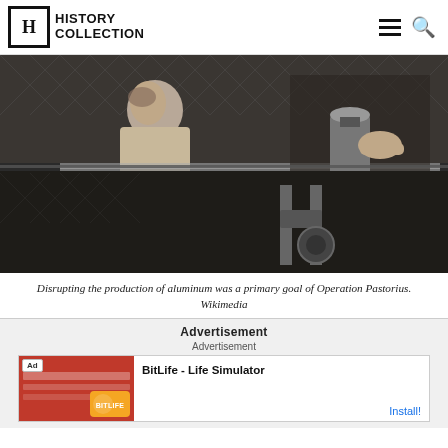History Collection
[Figure (photo): Black and white historical photograph showing a person seated near industrial equipment, possibly related to aluminum production. Another person's hands are visible operating machinery. Chain-link fence visible in background.]
Disrupting the production of aluminum was a primary goal of Operation Pastorius. Wikimedia
Advertisement
Advertisement
[Figure (screenshot): Advertisement banner for BitLife - Life Simulator app with red background, Ad badge, BitLife logo, and Install button]